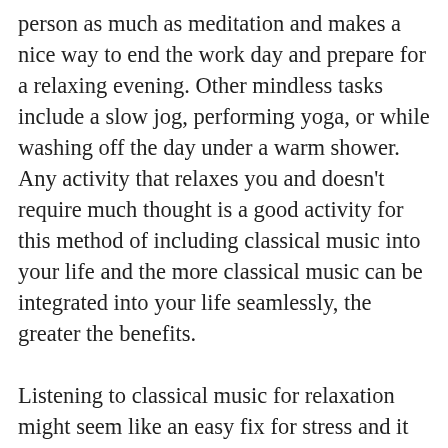person as much as meditation and makes a nice way to end the work day and prepare for a relaxing evening. Other mindless tasks include a slow jog, performing yoga, or while washing off the day under a warm shower. Any activity that relaxes you and doesn't require much thought is a good activity for this method of including classical music into your life and the more classical music can be integrated into your life seamlessly, the greater the benefits.
Listening to classical music for relaxation might seem like an easy fix for stress and it can be but only as part of an overall stress reduction plan. Finding the causes of stress and strategies for alleviating them is also necessary. In the beginning, finding this information might seem as